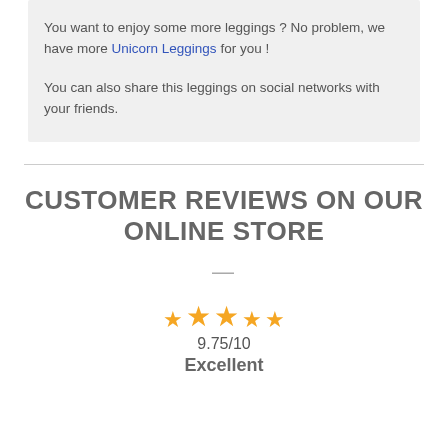You want to enjoy some more leggings ? No problem, we have more Unicorn Leggings for you !

You can also share this leggings on social networks with your friends.
CUSTOMER REVIEWS ON OUR ONLINE STORE
—
[Figure (other): Five orange stars arranged with middle star raised, rating display showing 9.75/10 Excellent]
9.75/10
Excellent